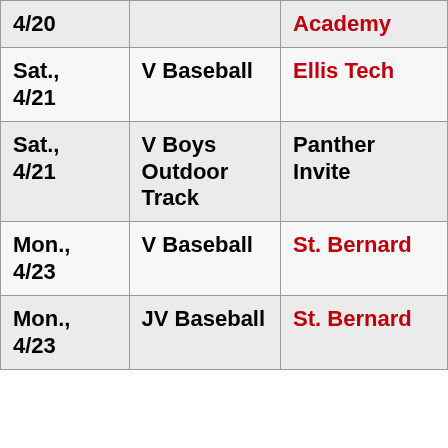| Date | Event | Opponent |
| --- | --- | --- |
| 4/20 |  | Academy |
| Sat., 4/21 | V Baseball | Ellis Tech |
| Sat., 4/21 | V Boys Outdoor Track | Panther Invite |
| Mon., 4/23 | V Baseball | St. Bernard |
| Mon., 4/23 | JV Baseball | St. Bernard |